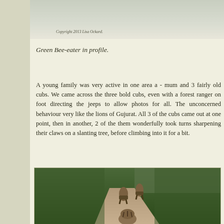[Figure (photo): Top portion of a photo with copyright text reading 'Copyright 2013 Lisa Ockard']
Green Bee-eater in profile.
A young family was very active in one area a - mum and 3 fairly old cubs. We came across the three bold cubs, even with a forest ranger on foot directing the jeeps to allow photos for all. The unconcerned behaviour very like the lions of Gujurat. All 3 of the cubs came out at one point, then in another, 2 of the them wonderfully took turns sharpening their claws on a slanting tree, before climbing into it for a bit.
[Figure (photo): Photo of tiger cubs walking away on a dirt forest path, with green vegetation on both sides. Three tigers visible from behind walking along the path.]